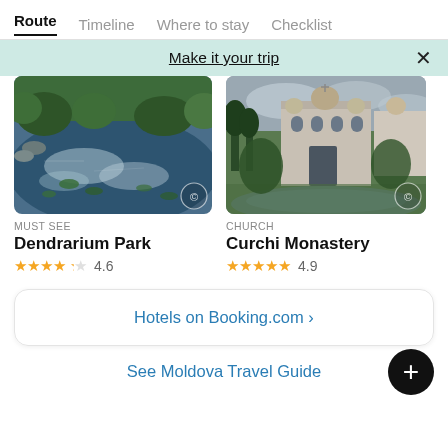Route  Timeline  Where to stay  Checklist
Make it your trip
[Figure (photo): Aerial view of a pond/lake with lily pads reflecting clouds, surrounded by greenery — Dendrarium Park]
MUST SEE
Dendrarium Park
★★★★½ 4.6
[Figure (photo): View of Curchi Monastery with ornate facade, domes, trees and a pond in the foreground under overcast sky]
CHURCH
Curchi Monastery
★★★★★ 4.9
Hotels on Booking.com ›
See Moldova Travel Guide